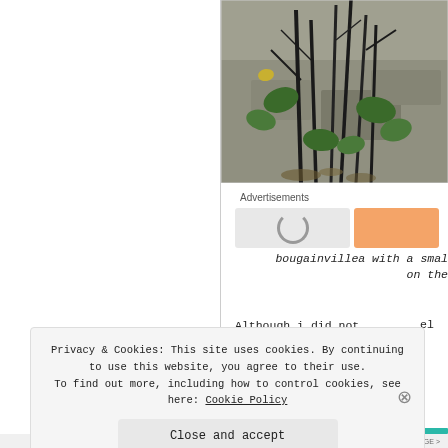[Figure (photo): Photo of a bougainvillea plant with thin dark stems and green leaves against a rocky/stone wall background]
Advertisements
bougainvillea with a smal on the
Although i did not not wor el k
Privacy & Cookies: This site uses cookies. By continuing to use this website, you agree to their use. To find out more, including how to control cookies, see here: Cookie Policy
Close and accept